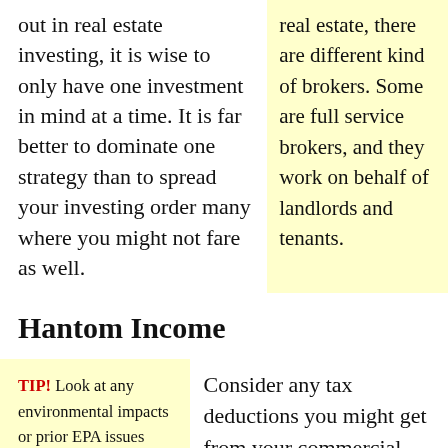out in real estate investing, it is wise to only have one investment in mind at a time. It is far better to dominate one strategy than to spread your investing order many where you might not fare as well.
real estate, there are different kind of brokers. Some are full service brokers, and they work on behalf of landlords and tenants.
Hantom Income
TIP! Look at any environmental impacts or prior EPA issues with the
Consider any tax deductions you might get from your commercial properties for investment purposes.